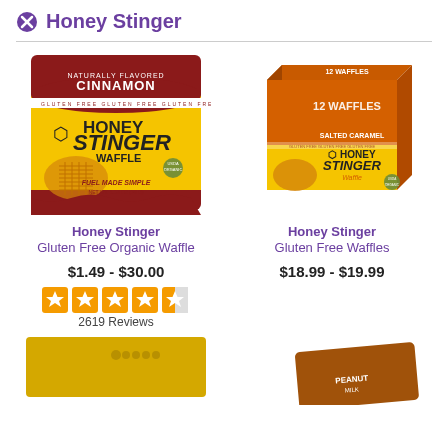Honey Stinger
[Figure (photo): Honey Stinger Cinnamon Gluten Free Organic Waffle product package, individual yellow and dark red wrapper]
Honey Stinger
Gluten Free Organic Waffle
$1.49 - $30.00
[Figure (other): 4.5 star rating graphic with 5 orange star icons, last one half filled]
2619 Reviews
[Figure (photo): Honey Stinger Salted Caramel Gluten Free Waffles product box, 12 count, orange and yellow box]
Honey Stinger
Gluten Free Waffles
$18.99 - $19.99
[Figure (photo): Partial image of a gold/yellow Honey Stinger product package at bottom left]
[Figure (photo): Partial image of a brown Honey Stinger peanut butter product package at bottom right]